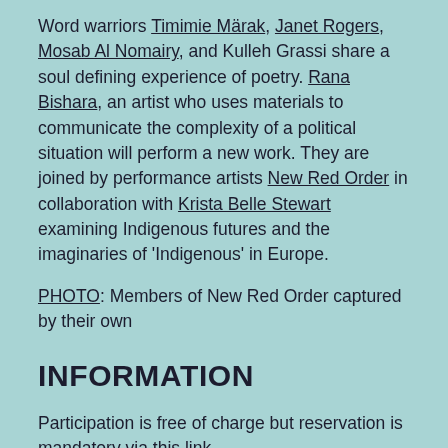Word warriors Timimie Märak, Janet Rogers, Mosab Al Nomairy, and Kulleh Grassi share a soul defining experience of poetry. Rana Bishara, an artist who uses materials to communicate the complexity of a political situation will perform a new work. They are joined by performance artists New Red Order in collaboration with Krista Belle Stewart examining Indigenous futures and the imaginaries of 'Indigenous' in Europe.
PHOTO: Members of New Red Order captured by their own
INFORMATION
Participation is free of charge but reservation is mandatory via this link.